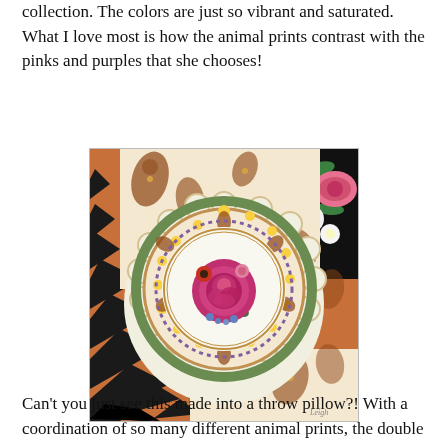collection. The colors are just so vibrant and saturated. What I love most is how the animal prints contrast with the pinks and purples that she chooses!
[Figure (illustration): A decorative artwork featuring a central circular plate design with a pink rose and floral motif, surrounded by paisley patterns and a tiger stripe border in the lower left, with floral elements in the upper right corner.]
Can't you just see this made into a throw pillow?! With a coordination of so many different animal prints, the double